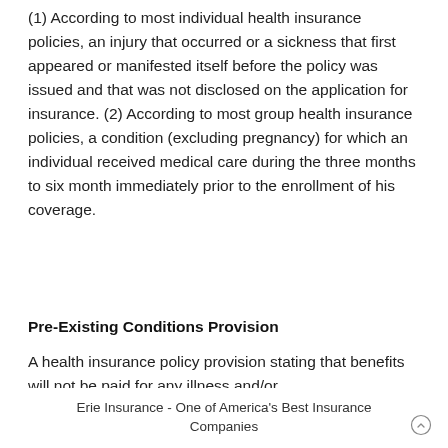(1) According to most individual health insurance policies, an injury that occurred or a sickness that first appeared or manifested itself before the policy was issued and that was not disclosed on the application for insurance. (2) According to most group health insurance policies, a condition (excluding pregnancy) for which an individual received medical care during the three months to six month immediately prior to the enrollment of his coverage.
Pre-Existing Conditions Provision
A health insurance policy provision stating that benefits will not be paid for any illness and/or
Erie Insurance - One of America's Best Insurance Companies